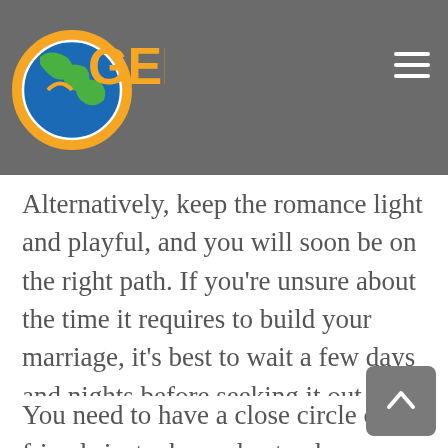[Figure (logo): GEPT logo with globe icon in orange and blue, text 'GEPT' in orange with registered trademark symbol]
to experience excited as you meet a new person. But don't overdo it it! Alternatively, keep the romance light and playful, and you will soon be on the right path. If you're unsure about the time it requires to build your marriage, it's best to wait a few days and nights before seeking it out.
You need to have a close circle of friends just who understand your brand new relationship. Passionate friendships will be crucial and should become kept undamaged. Keeping all of them close to your